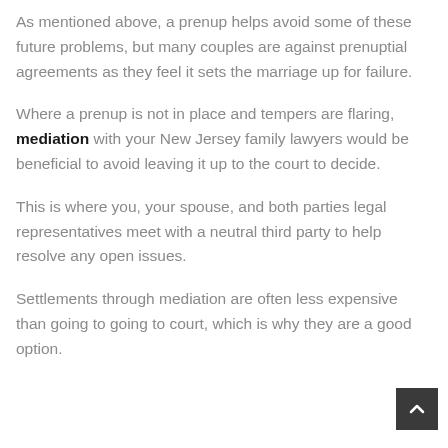As mentioned above, a prenup helps avoid some of these future problems, but many couples are against prenuptial agreements as they feel it sets the marriage up for failure.
Where a prenup is not in place and tempers are flaring, mediation with your New Jersey family lawyers would be beneficial to avoid leaving it up to the court to decide.
This is where you, your spouse, and both parties legal representatives meet with a neutral third party to help resolve any open issues.
Settlements through mediation are often less expensive than going to going to court, which is why they are a good option.